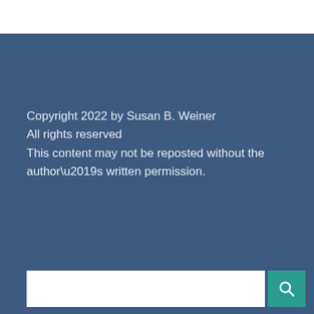Copyright 2022 by Susan B. Weiner
All rights reserved
This content may not be reposted without the author’s written permission.